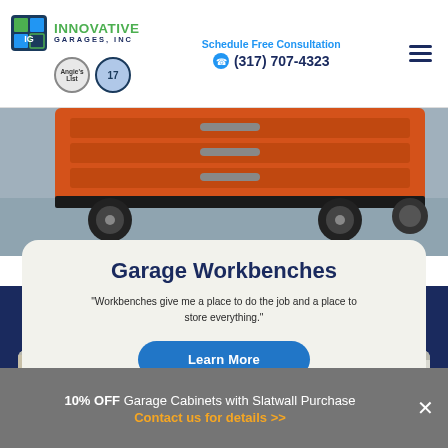INNOVATIVE GARAGES, INC | Schedule Free Consultation | (317) 707-4323
[Figure (photo): Orange garage workbench on wheels / cart with casters on a grey floor, partial view showing bottom portion]
Garage Workbenches
"Workbenches give me a place to do the job and a place to store everything."
Learn More
[Figure (photo): Lower partial view of garage cabinets/storage in beige and white tones]
10% OFF Garage Cabinets with Slatwall Purchase Contact us for details >>